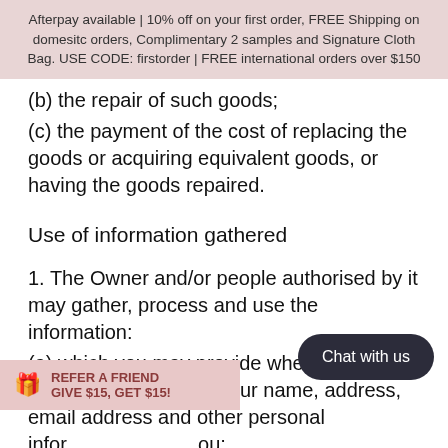Afterpay available | 10% off on your first order, FREE Shipping on domesitc orders, Complimentary 2 samples and Signature Cloth Bag. USE CODE: firstorder | FREE international orders over $150
(b) the repair of such goods;
(c) the payment of the cost of replacing the goods or acquiring equivalent goods, or having the goods repaired.
Use of information gathered
1. The Owner and/or people authorised by it may gather, process and use the information:
(a) which you may provide when accessing the Website, such as your name, address, email address and other personal information about you;
(b) regarding the way in which you use the